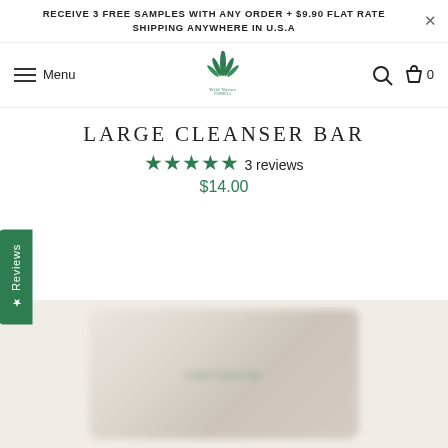RECEIVE 3 FREE SAMPLES WITH ANY ORDER + $9.90 FLAT RATE SHIPPING ANYWHERE IN U.S.A
LARGE CLEANSER BAR
★★★★★ 3 reviews
$14.00
[Figure (photo): Blurred product photo of Large Cleanser Bar soap packaging with green text label, shown from front angle]
★ Reviews